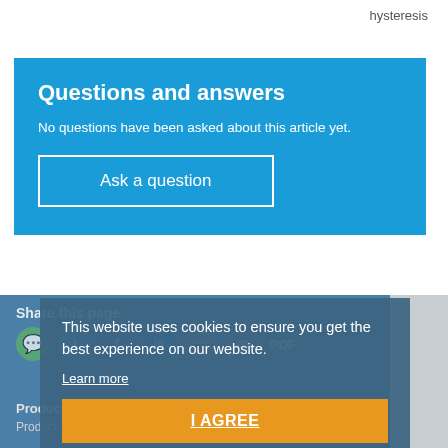hysteresis
Questions and answers
No questions have been asked about this article yet.
Ask a question
Share this page
This website uses cookies to ensure you get the best experience on our website.
Learn more
I AGREE
Products
Custom-made
Product Series
OEM Services